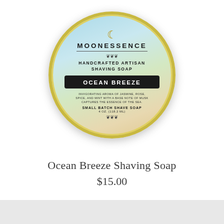[Figure (photo): Circular tin of Moonessence Handcrafted Artisan Shaving Soap in Ocean Breeze scent. The tin has a gold border and a label with a gradient background (light blue to peach). Text on label: MOONESSENCE, HANDCRAFTED ARTISAN SHAVING SOAP, OCEAN BREEZE (in black badge), invigorating aroma of jasmine, rose, spice, and mint with a base note of musk captures the essence of the sea. SMALL BATCH SHAVE SOAP, 4 OZ. (118.2 ML).]
Ocean Breeze Shaving Soap
$15.00